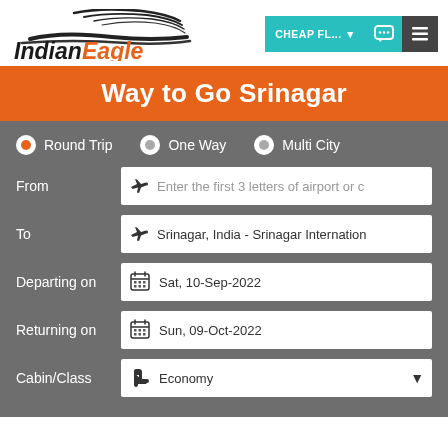[Figure (logo): Indian Eagle logo with stylized eagle wing above text 'Indian Eagle' in black and orange]
Way to Go Srinagar
Round Trip (selected), One Way, Multi City
From: Enter the first 3 letters of airport or city
To: Srinagar, India - Srinagar International
Departing on: Sat, 10-Sep-2022
Returning on: Sun, 09-Oct-2022
Cabin/Class: Economy